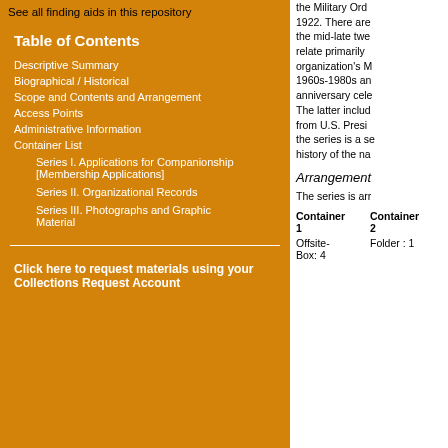See all finding aids in this repository
Table of Contents
Descriptive Summary
Biographical / Historical
Scope and Contents and Arrangement
Access Points
Administrative Information
Container List
Series I. Applications for Companionship [Membership Applications]
Series II. Organizational Records
Series III. Photographs and Graphic Material
Click here to request materials using your Collections Request Account
the Military Ord… 1922. There are… the mid-late twe… relate primarily … organization's M… 1960s-1980s an… anniversary cele… The latter includ… from U.S. Presi… the series is a se… history of the na…
Arrangement
The series is arr…
| Container 1 | Container 2 |
| --- | --- |
| Offsite-Box: 4 | Folder : 1 |